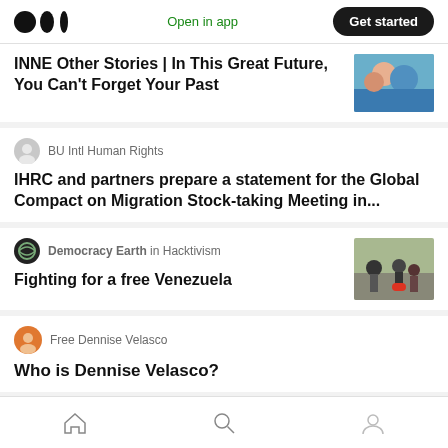Medium app header with logo, Open in app, Get started
INNE Other Stories | In This Great Future, You Can't Forget Your Past
BU Intl Human Rights
IHRC and partners prepare a statement for the Global Compact on Migration Stock-taking Meeting in...
Democracy Earth in Hacktivism
Fighting for a free Venezuela
Free Dennise Velasco
Who is Dennise Velasco?
Bottom navigation: Home, Search, Profile